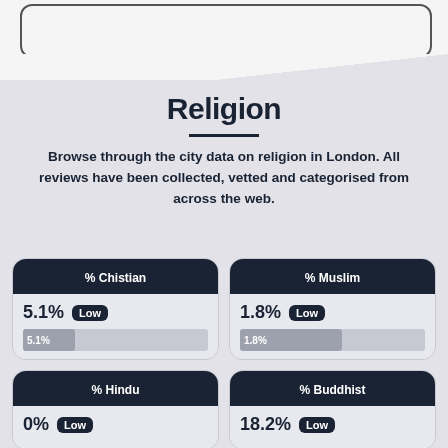Religion
Browse through the city data on religion in London. All reviews have been collected, vetted and categorised from across the web.
[Figure (infographic): Stat card: % Chistian, 5.1% Low, bar showing 5.1%]
[Figure (infographic): Stat card: % Muslim, 1.8% Low, bar showing 1.8%]
[Figure (infographic): Stat card: % Hindu, 0% Low]
[Figure (infographic): Stat card: % Buddhist, 18.2% Low]